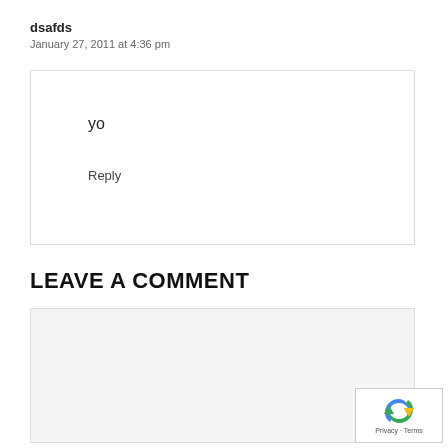dsafds
January 27, 2011 at 4:36 pm
yo
Reply
LEAVE A COMMENT